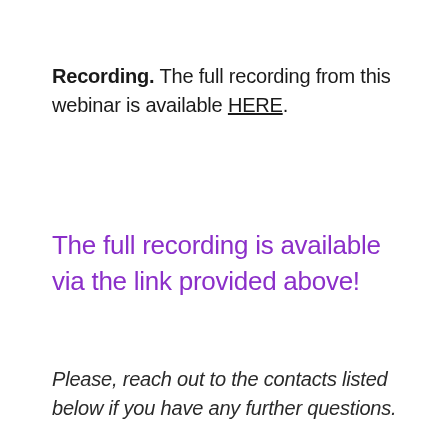Recording. The full recording from this webinar is available HERE.
The full recording is available via the link provided above!
Please, reach out to the contacts listed below if you have any further questions.